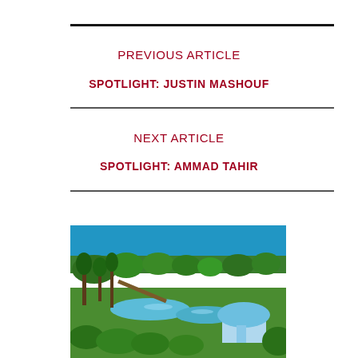PREVIOUS ARTICLE
SPOTLIGHT: JUSTIN MASHOUF
NEXT ARTICLE
SPOTLIGHT: AMMAD TAHIR
[Figure (photo): Outdoor tropical landscape with lush green vegetation, trees, a small blue pond or river, and a blue hut or structure in the foreground right. Bright blue sky visible at the top.]